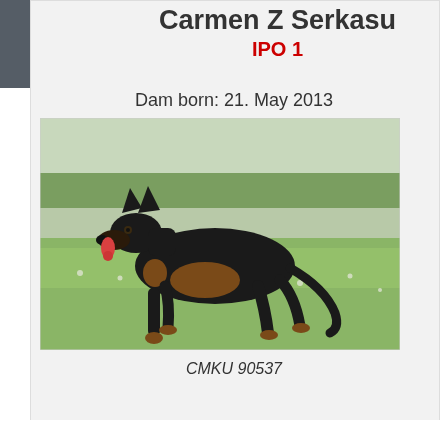Carmen Z Serkasu IPO 1
Dam born: 21. May 2013
[Figure (photo): Black and tan German Shepherd dog standing in profile on a grassy field, tongue out, photographed outdoors]
CMKU 90537